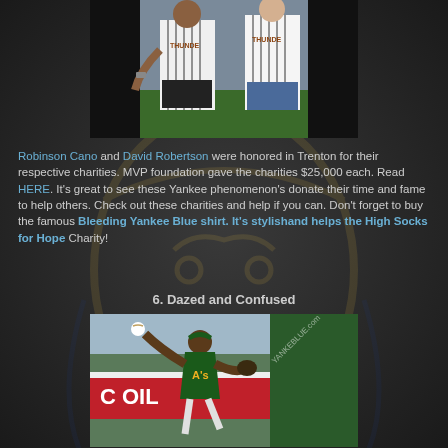[Figure (photo): Two baseball players in Thunder pinstripe jerseys standing together outdoors]
Robinson Cano and David Robertson were honored in Trenton for their respective charities. MVP foundation gave the charities $25,000 each. Read HERE. It's great to see these Yankee phenomenon's donate their time and fame to help others. Check out these charities and help if you can. Don't forget to buy the famous Bleeding Yankee Blue shirt. It's stylishand helps the High Socks for Hope Charity!
6. Dazed and Confused
[Figure (photo): Oakland Athletics pitcher in green and gold uniform throwing a pitch on a baseball field with red wall advertising in background]